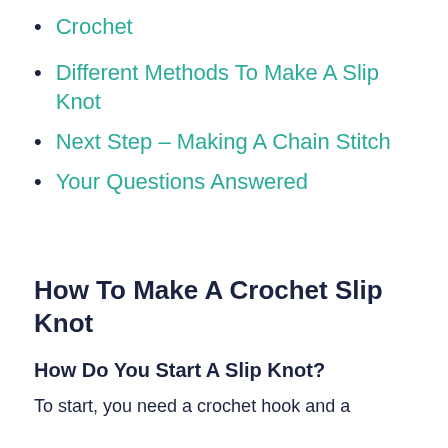Crochet
Different Methods To Make A Slip Knot
Next Step – Making A Chain Stitch
Your Questions Answered
How To Make A Crochet Slip Knot
How Do You Start A Slip Knot?
To start, you need a crochet hook and a